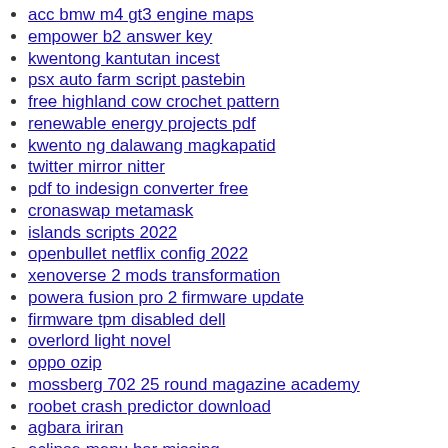acc bmw m4 gt3 engine maps
empower b2 answer key
kwentong kantutan incest
psx auto farm script pastebin
free highland cow crochet pattern
renewable energy projects pdf
kwento ng dalawang magkapatid
twitter mirror nitter
pdf to indesign converter free
cronaswap metamask
islands scripts 2022
openbullet netflix config 2022
xenoverse 2 mods transformation
powera fusion pro 2 firmware update
firmware tpm disabled dell
overlord light novel
oppo ozip
mossberg 702 25 round magazine academy
roobet crash predictor download
agbara iriran
eclipse menu bar missing
buy ozempic in canada
ecchi online
skinwalker ranch season 3 streaming uk
amorc lessons pdf